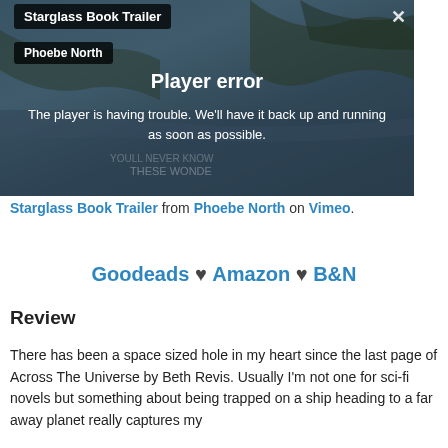[Figure (screenshot): Video player embed showing 'Starglass Book Trailer' by Phoebe North with a player error message over a dark nature background. Error reads: 'Player error — The player is having trouble. We'll have it back up and running as soon as possible.']
Starglass Book Trailer from Phoebe North on Vimeo.
Goodeads ♥ Amazon ♥ B&N
Review
There has been a space sized hole in my heart since the last page of Across The Universe by Beth Revis. Usually I'm not one for sci-fi novels but something about being trapped on a ship heading to a far away planet really captures my